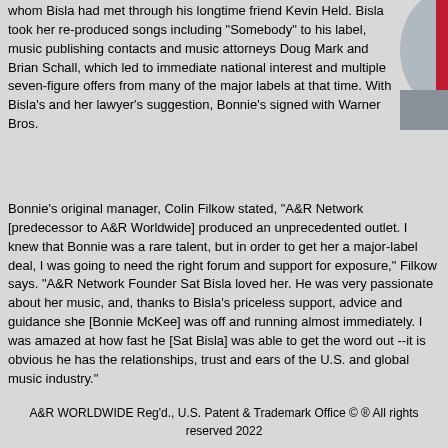whom Bisla had met through his longtime friend Kevin Held. Bisla took her re-produced songs including "Somebody" to his label, music publishing contacts and music attorneys Doug Mark and Brian Schall, which led to immediate national interest and multiple seven-figure offers from many of the major labels at that time. With Bisla's and her lawyer's suggestion, Bonnie's signed with Warner Bros.
Bonnie's original manager, Colin Filkow stated, "A&R Network [predecessor to A&R Worldwide] produced an unprecedented outlet. I knew that Bonnie was a rare talent, but in order to get her a major-label deal, I was going to need the right forum and support for exposure," Filkow says. "A&R Network Founder Sat Bisla loved her. He was very passionate about her music, and, thanks to Bisla's priceless support, advice and guidance she [Bonnie McKee] was off and running almost immediately. I was amazed at how fast he [Sat Bisla] was able to get the word out --it is obvious he has the relationships, trust and ears of the U.S. and global music industry."
A&R WORLDWIDE Reg'd., U.S. Patent & Trademark Office © ® All rights reserved 2022